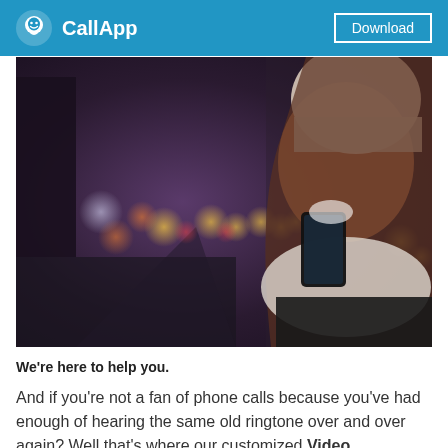CallApp | Download
[Figure (photo): A smiling young woman wearing a white knit hat and scarf holding a smartphone outdoors at night, with bokeh city lights in the background]
We're here to help you.
And if you're not a fan of phone calls because you've had enough of hearing the same old ringtone over and over again? Well that's where our customized Video